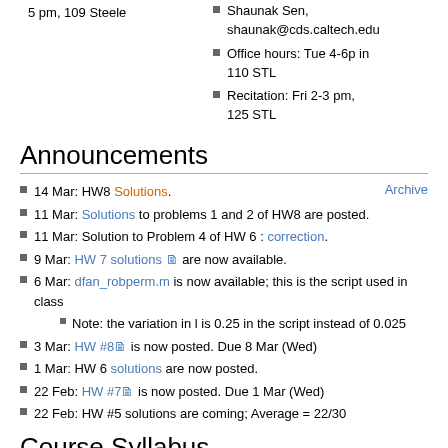5 pm, 109 Steele
Shaunak Sen, shaunak@cds.caltech.edu
Office hours: Tue 4-6p in 110 STL
Recitation: Fri 2-3 pm, 125 STL
Announcements
14 Mar: HW8 Solutions.
11 Mar: Solutions to problems 1 and 2 of HW8 are posted.
11 Mar: Solution to Problem 4 of HW 6 : correction.
9 Mar: HW 7 solutions are now available.
6 Mar: dfan_robperm.m is now available; this is the script used in class
Note: the variation in l is 0.25 in the script instead of 0.025
3 Mar: HW #8 is now posted. Due 8 Mar (Wed)
1 Mar: HW 6 solutions are now posted.
22 Feb: HW #7 is now posted. Due 1 Mar (Wed)
22 Feb: HW #5 solutions are coming; Average = 22/30
Course Syllabus
Course Desciption and Goals: CDS 110b focuses on intermediate topics in control theory, including H∞ control theory for robust performance